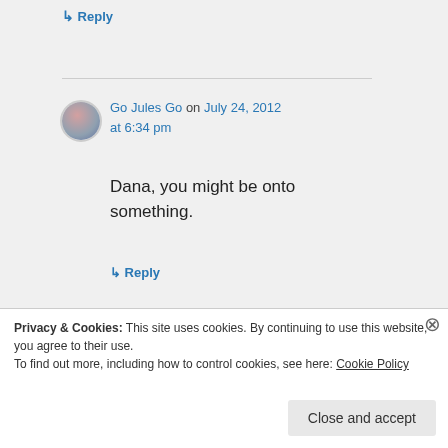↳ Reply
Go Jules Go on July 24, 2012 at 6:34 pm
Dana, you might be onto something.
↳ Reply
Privacy & Cookies: This site uses cookies. By continuing to use this website, you agree to their use.
To find out more, including how to control cookies, see here: Cookie Policy
Close and accept